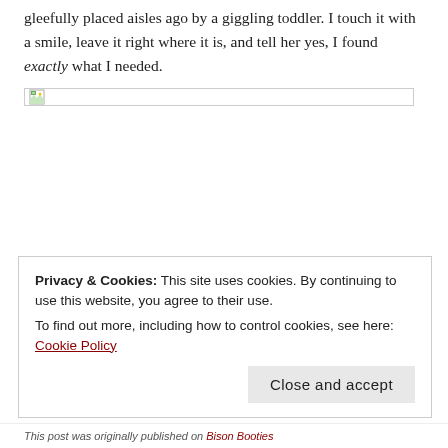gleefully placed aisles ago by a giggling toddler. I touch it with a smile, leave it right where it is, and tell her yes, I found exactly what I needed.
[Figure (photo): Broken/unloaded image placeholder with small image icon in top-left corner, bordered box]
Privacy & Cookies: This site uses cookies. By continuing to use this website, you agree to their use. To find out more, including how to control cookies, see here: Cookie Policy
Close and accept
This post was originally published on Bison Booties